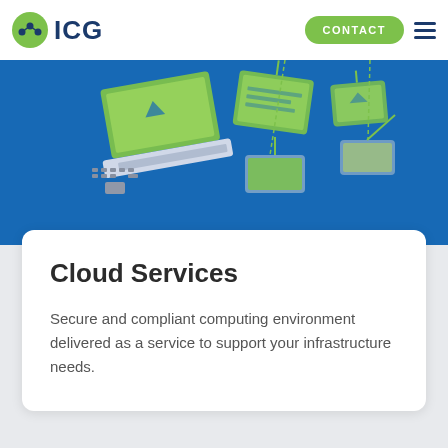ICG  CONTACT
[Figure (illustration): Isometric illustration of laptops, tablets, and devices floating on a blue background representing cloud services]
Cloud Services
Secure and compliant computing environment delivered as a service to support your infrastructure needs.